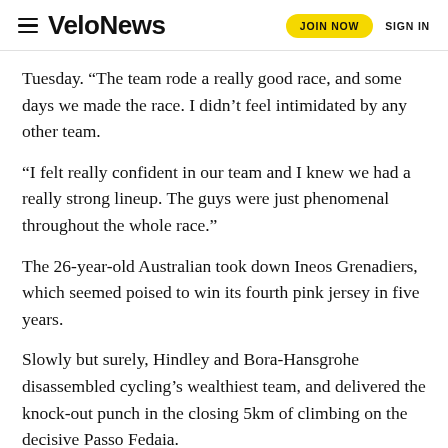VeloNews | JOIN NOW | SIGN IN
Tuesday. “The team rode a really good race, and some days we made the race. I didn’t feel intimidated by any other team.
“I felt really confident in our team and I knew we had a really strong lineup. The guys were just phenomenal throughout the whole race.”
The 26-year-old Australian took down Ineos Grenadiers, which seemed poised to win its fourth pink jersey in five years.
Slowly but surely, Hindley and Bora-Hansgrohe disassembled cycling’s wealthiest team, and delivered the knock-out punch in the closing 5km of climbing on the decisive Passo Fedaia.
Hindley’s victory is an important milestone for the Bora-Hansgrohe organization, which pivoted from the classics and